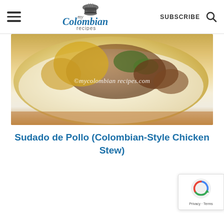my Colombian recipes — SUBSCRIBE
[Figure (photo): Food photo of Sudado de Pollo (Colombian-Style Chicken Stew) with watermark ©mycolombian recipes.com]
Sudado de Pollo (Colombian-Style Chicken Stew)